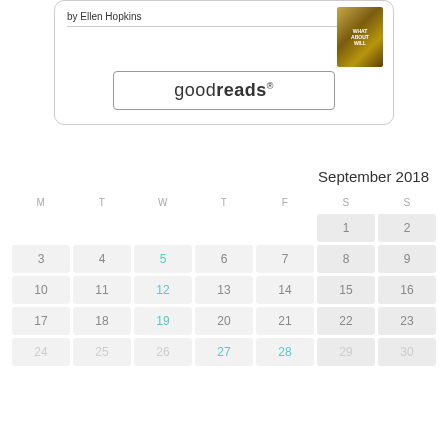by Ellen Hopkins
[Figure (illustration): Book cover thumbnail for 'What About Will' by Ellen Hopkins]
[Figure (logo): Goodreads button with rounded rectangle border showing the goodreads logo text]
September 2018
| M | T | W | T | F | S | S |
| --- | --- | --- | --- | --- | --- | --- |
|  |  |  |  |  | 1 | 2 |
| 3 | 4 | 5 | 6 | 7 | 8 | 9 |
| 10 | 11 | 12 | 13 | 14 | 15 | 16 |
| 17 | 18 | 19 | 20 | 21 | 22 | 23 |
| 24 | 25 | 26 | 27 | 28 | 29 | 30 |